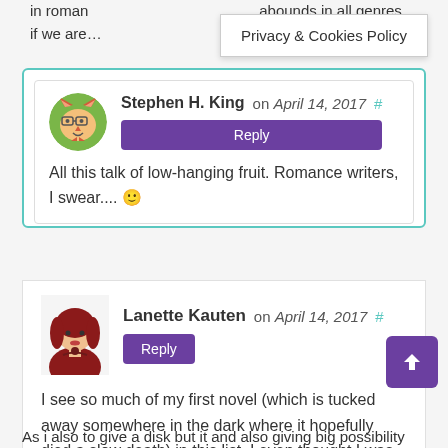in roman … abounds in all genres if we are…
Privacy & Cookies Policy
Stephen H. King on April 14, 2017 #
All this talk of low-hanging fruit. Romance writers, I swear.... 🙂
Lanette Kauten on April 14, 2017 #
I see so much of my first novel (which is tucked away somewhere in the dark where it hopefully died a slow death) in this list. I even thought I was being clever by describing the love interest's eyes as peridot. It's not emerald!
As i also to give a disk but it and also giving big possibility